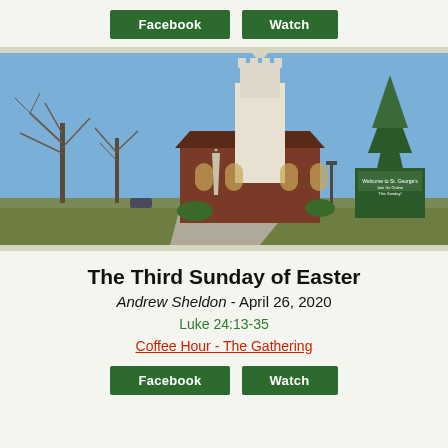Facebook  Watch
[Figure (photo): Exterior photo of St. George's Episcopal Church, a red brick building with a tall white Gothic steeple, surrounded by bare trees and a green sign, photographed in winter/early spring under a blue sky.]
The Third Sunday of Easter
Andrew Sheldon - April 26, 2020
Luke 24:13-35
Coffee Hour - The Gathering
Facebook  Watch